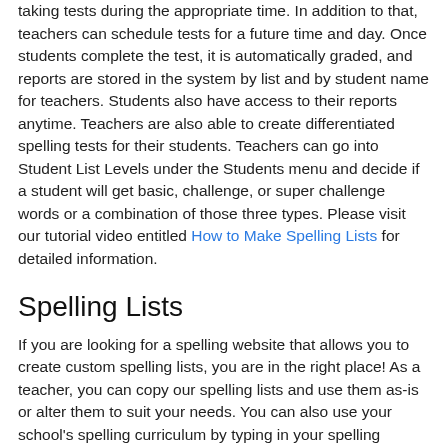able to see the test. This helps ensure that students are taking tests during the appropriate time. In addition to that, teachers can schedule tests for a future time and day. Once students complete the test, it is automatically graded, and reports are stored in the system by list and by student name for teachers. Students also have access to their reports anytime. Teachers are also able to create differentiated spelling tests for their students. Teachers can go into Student List Levels under the Students menu and decide if a student will get basic, challenge, or super challenge words or a combination of those three types. Please visit our tutorial video entitled How to Make Spelling Lists for detailed information.
Spelling Lists
If you are looking for a spelling website that allows you to create custom spelling lists, you are in the right place! As a teacher, you can copy our spelling lists and use them as-is or alter them to suit your needs. You can also use your school's spelling curriculum by typing in your spelling words. Once you create your spelling lists, you can use them year after year. You can create differentiated spelling lists so that each student gets the appropriate learning experience. Spelling Stars easily fits into your lesson plans and takes the work out of grading papers.